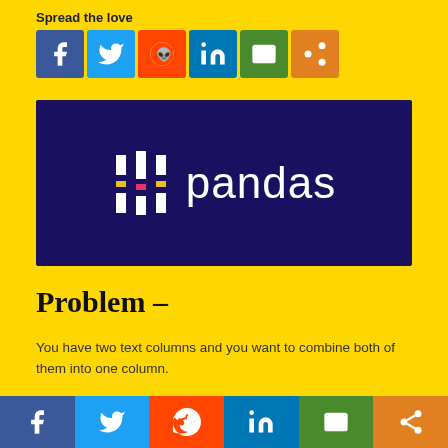Spread the love
[Figure (infographic): Social media sharing icons: Facebook (blue), Twitter (light blue), Reddit (orange-red), LinkedIn (blue), Email (green), Share (orange)]
[Figure (logo): Pandas library logo on dark navy background — bar chart icon followed by text 'pandas' in white]
Problem –
You have two text columns and you want to combine both of them into one column.
Solution
[Figure (infographic): Bottom social media sharing bar: Facebook (dark blue), Twitter (light blue), Reddit (orange-red), LinkedIn (blue), Email (green), Share (orange)]